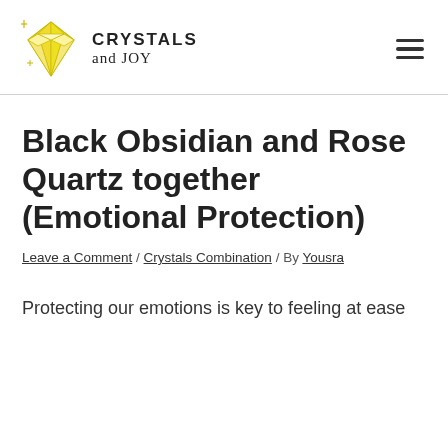CRYSTALS and JOY
Black Obsidian and Rose Quartz together (Emotional Protection)
Leave a Comment / Crystals Combination / By Yousra
Protecting our emotions is key to feeling at ease